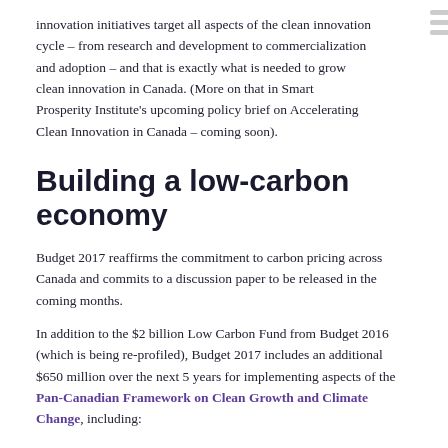innovation initiatives target all aspects of the clean innovation cycle – from research and development to commercialization and adoption – and that is exactly what is needed to grow clean innovation in Canada. (More on that in Smart Prosperity Institute's upcoming policy brief on Accelerating Clean Innovation in Canada – coming soon).
Building a low-carbon economy
Budget 2017 reaffirms the commitment to carbon pricing across Canada and commits to a discussion paper to be released in the coming months.
In addition to the $2 billion Low Carbon Fund from Budget 2016 (which is being re-profiled), Budget 2017 includes an additional $650 million over the next 5 years for implementing aspects of the Pan-Canadian Framework on Clean Growth and Climate Change, including: